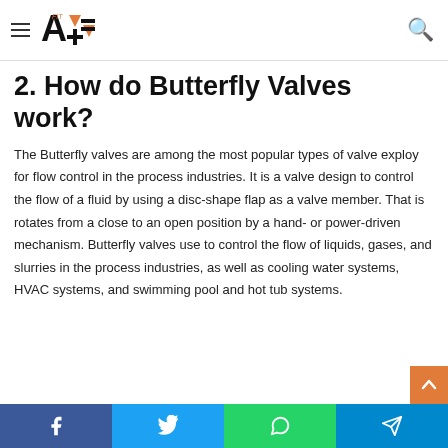Articles Fit — navigation header with logo and search
2. How do Butterfly Valves work?
The Butterfly valves are among the most popular types of valve exploy for flow control in the process industries. It is a valve design to control the flow of a fluid by using a disc-shape flap as a valve member. That is rotates from a close to an open position by a hand- or power-driven mechanism. Butterfly valves use to control the flow of liquids, gases, and slurries in the process industries, as well as cooling water systems, HVAC systems, and swimming pool and hot tub systems.
Social share buttons: Facebook, Twitter, WhatsApp, Telegram